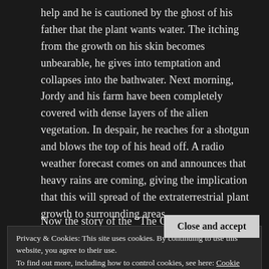help and he is cautioned by the ghost of his father that the plant wants water. The itching from the growth on his skin becomes unbearable, he gives into temptation and collapses into the bathwater. Next morning, Jordy and his farm have been completely covered with dense layers of the alien vegetation. In despair, he reaches for a shotgun and blows the top of his head off. A radio weather forecast comes on and announces that heavy rains are coming, giving the implication that this will spread of the extraterrestrial plant growth to surrounding areas.
Now the story of the “The Crate” was always my
Privacy & Cookies: This site uses cookies. By continuing to use this website, you agree to their use.
To find out more, including how to control cookies, see here: Cookie Policy
Close and accept
rew different changes for the movie. The changes